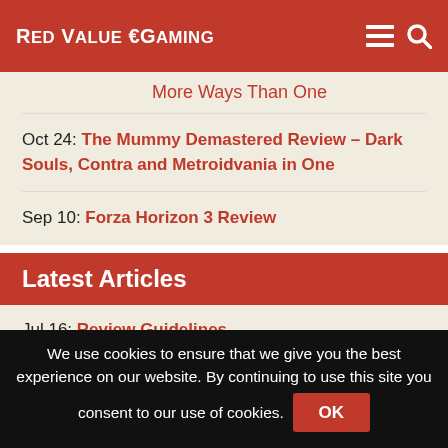Red Value €Gaming
More Ways Than One
Oct 24: The Mummy Demastered Review – Dark Souls, Contra and Metroidvania in One
Sep 10: Forza Horizon 3 Review
Latest Articles
Jul 16: Review Guidelines
Jun 27: Forum now in Beta
Jun 16: Crossplay Conundrum
Apr 18: [partial]
We use cookies to ensure that we give you the best experience on our website. By continuing to use this site you consent to our use of cookies.